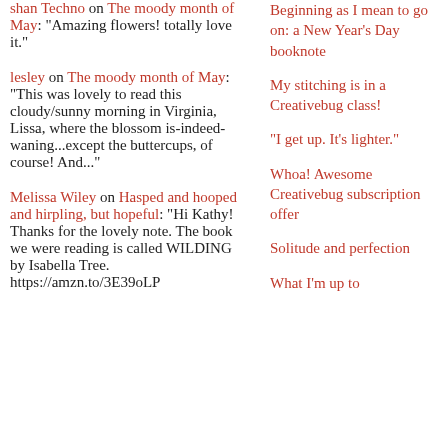shan Techno on The moody month of May: "Amazing flowers! totally love it."
lesley on The moody month of May: "This was lovely to read this cloudy/sunny morning in Virginia, Lissa, where the blossom is-indeed-waning...except the buttercups, of course! And..."
Melissa Wiley on Hasped and hooped and hirpling, but hopeful: "Hi Kathy! Thanks for the lovely note. The book we were reading is called WILDING by Isabella Tree. https://amzn.to/3E39oLP
Beginning as I mean to go on: a New Year's Day booknote
My stitching is in a Creativebug class!
“I get up. It’s lighter.”
Whoa! Awesome Creativebug subscription offer
Solitude and perfection
What I'm up to